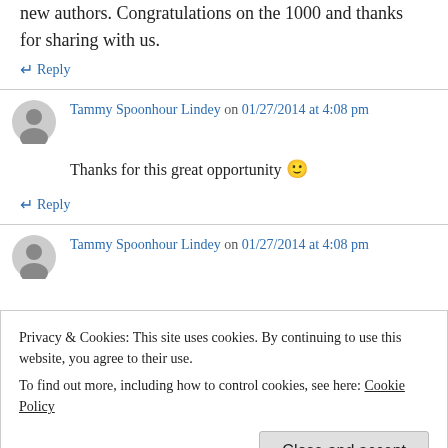new authors. Congratulations on the 1000 and thanks for sharing with us.
↵ Reply
Tammy Spoonhour Lindey on 01/27/2014 at 4:08 pm
Thanks for this great opportunity 🙂
↵ Reply
Tammy Spoonhour Lindey on 01/27/2014 at 4:08 pm
Privacy & Cookies: This site uses cookies. By continuing to use this website, you agree to their use. To find out more, including how to control cookies, see here: Cookie Policy
Close and accept